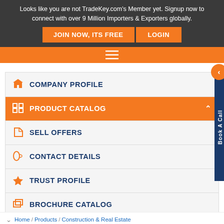Looks like you are not TradeKey.com's Member yet. Signup now to connect with over 9 Million Importers & Exporters globally.
JOIN NOW, ITS FREE
LOGIN
[Figure (screenshot): Orange navigation bar with hamburger menu icon]
COMPANY PROFILE
PRODUCT CATALOG
SELL OFFERS
CONTACT DETAILS
TRUST PROFILE
BROCHURE CATALOG
Amazon Services
Home / Products / Construction & Real Estate